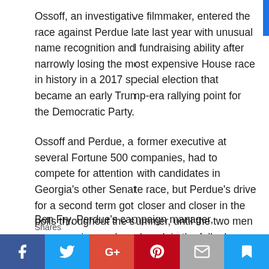Ossoff, an investigative filmmaker, entered the race against Perdue late last year with unusual name recognition and fundraising ability after narrowly losing the most expensive House race in history in a 2017 special election that became an early Trump-era rallying point for the Democratic Party.
Ossoff and Perdue, a former executive at several Fortune 500 companies, had to compete for attention with candidates in Georgia's other Senate race, but Perdue's drive for a second term got closer and closer in the polls throughout the summer, until the two men were running neck-and-neck in the fall, along with the presidential candidates.
Ben Fry, Perdue's campaign manager, described Perdue's
Shares